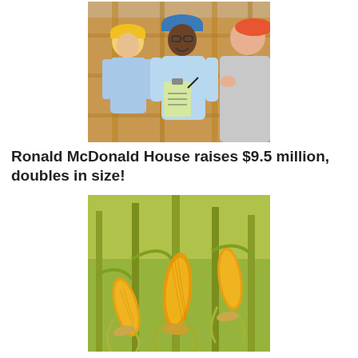[Figure (photo): Three people wearing hard hats and light blue shirts at a construction site; the central figure is a young Black man holding a clipboard and writing, with a woman on the left and another person partially visible on the right. Wooden framing is visible in the background.]
Ronald McDonald House raises $9.5 million, doubles in size!
[Figure (photo): Close-up of corn stalks in a field with ripe yellow ears of corn hanging from the stalks, with green leaves and warm sunlight in the background.]
Farm WI Discovery Center raises $12.5 million for innovative new education center!